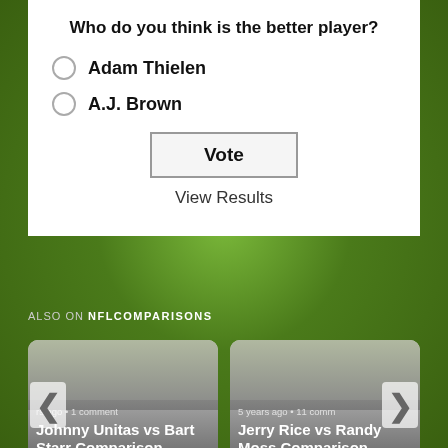Who do you think is the better player?
Adam Thielen
A.J. Brown
Vote
View Results
ALSO ON NFLCOMPARISONS
rs ago • 1 comment
Johnny Unitas vs Bart Starr Comparison
5 years ago • 11 comm
Jerry Rice vs Randy Moss Comparison